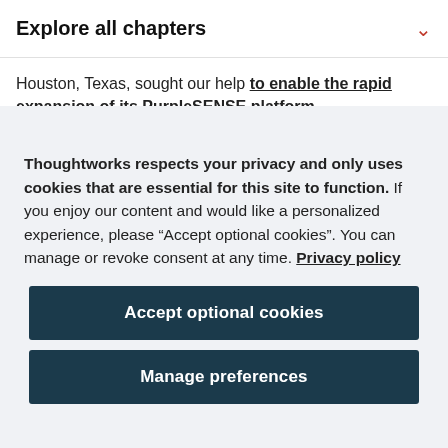Explore all chapters
Houston, Texas, sought our help to enable the rapid expansion of its PurpleSENSE platform.
Thoughtworks respects your privacy and only uses cookies that are essential for this site to function. If you enjoy our content and would like a personalized experience, please “Accept optional cookies”. You can manage or revoke consent at any time. Privacy policy
Accept optional cookies
Manage preferences